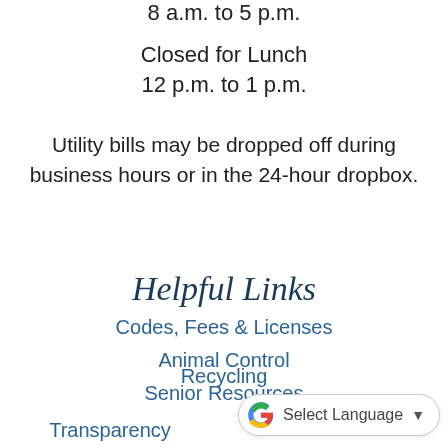8 a.m. to 5 p.m.
Closed for Lunch
12 p.m. to 1 p.m.
Utility bills may be dropped off during business hours or in the 24-hour dropbox.
Helpful Links
Codes, Fees & Licenses
Animal Control
Senior Resources
Recycling
Transparency